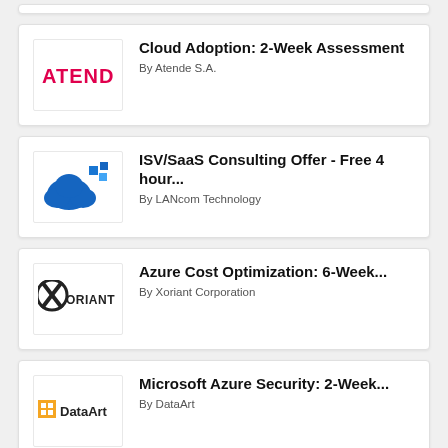Cloud Adoption: 2-Week Assessment by Atende S.A.
ISV/SaaS Consulting Offer - Free 4 hour... by LANcom Technology
Azure Cost Optimization: 6-Week... by Xoriant Corporation
Microsoft Azure Security: 2-Week... by DataArt